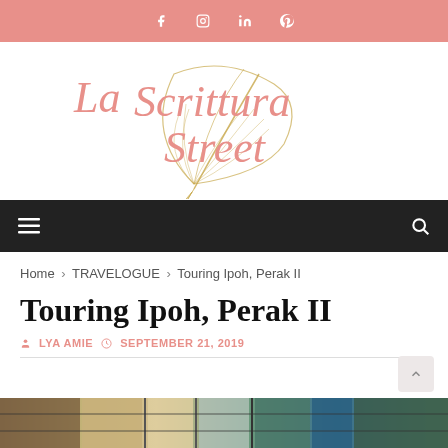Social media icons bar: Facebook, Instagram, LinkedIn, Pinterest
[Figure (logo): La Scrittura Street blog logo with decorative feather and cursive script text in salmon/gold colors]
Navigation bar with hamburger menu and search icon
Home > TRAVELOGUE > Touring Ipoh, Perak II
Touring Ipoh, Perak II
LYA AMIE  SEPTEMBER 21, 2019
[Figure (photo): Partial view of a photo showing shelves and architectural details, bottom of the page]